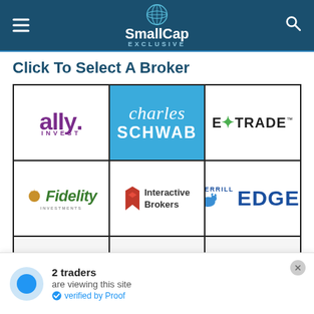SmallCap EXCLUSIVE
Click To Select A Broker
[Figure (infographic): 3x2 grid of broker logos: Ally Invest, Charles Schwab (highlighted in blue), E*TRADE, Fidelity Investments, Interactive Brokers, Merrill Edge]
2 traders are viewing this site verified by Proof